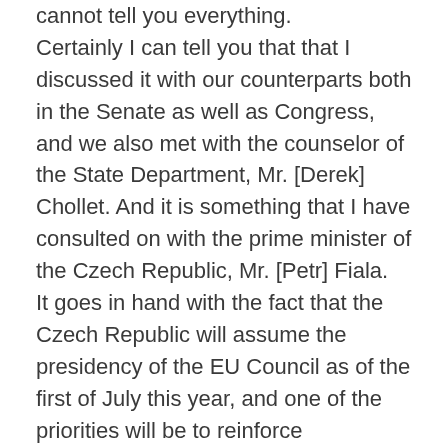cannot tell you everything. Certainly I can tell you that that I discussed it with our counterparts both in the Senate as well as Congress, and we also met with the counselor of the State Department, Mr. [Derek] Chollet. And it is something that I have consulted on with the prime minister of the Czech Republic, Mr. [Petr] Fiala. It goes in hand with the fact that the Czech Republic will assume the presidency of the EU Council as of the first of July this year, and one of the priorities will be to reinforce transatlantic links between Europe and the U.S. One of the issues that we are discussing with our counterparts here is, how can the Czech Republic contribute to the fact that the EU gets more involved in the activities in the Indo-Pacific region